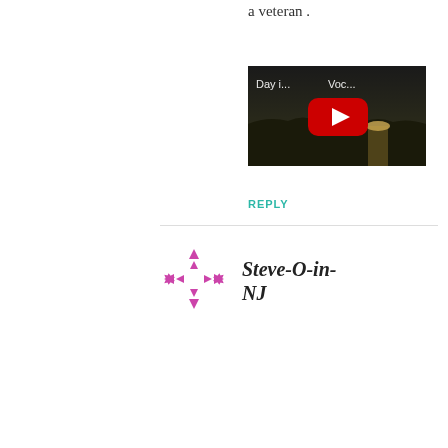a veteran .
[Figure (screenshot): YouTube video thumbnail showing a sunset over water with play button, title text reads 'Day i... Voc...']
REPLY
[Figure (logo): Purple/magenta circular logo made of small triangles arranged in a ring pattern]
Steve-O-in-NJ